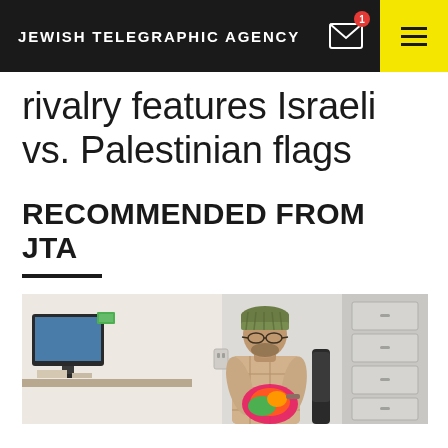JEWISH TELEGRAPHIC AGENCY
rivalry features Israeli vs. Palestinian flags
RECOMMENDED FROM JTA
[Figure (photo): A man wearing a knitted green beanie hat and plaid shirt, seated and holding colorful fabric/knitting, in a modern office setting with a computer monitor and white filing cabinets visible in the background.]